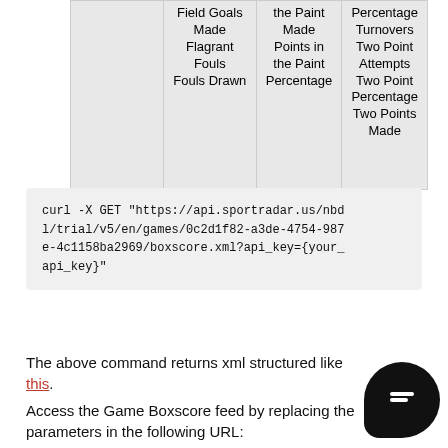|  | Field Goals Made
Flagrant Fouls
Fouls Drawn | the Paint Made
Points in the Paint
Percentage | Percentage
Turnovers
Two Point Attempts
Two Point Percentage
Two Points Made |
| --- | --- | --- | --- |
|  |  |  |  |
curl -X GET "https://api.sportradar.us/nbdl/trial/v5/en/games/0c2d1f82-a3de-4754-987e-4c1158ba2969/boxscore.xml?api_key={your_api_key}"
The above command returns xml structured like this.
Access the Game Boxscore feed by replacing the parameters in the following URL: